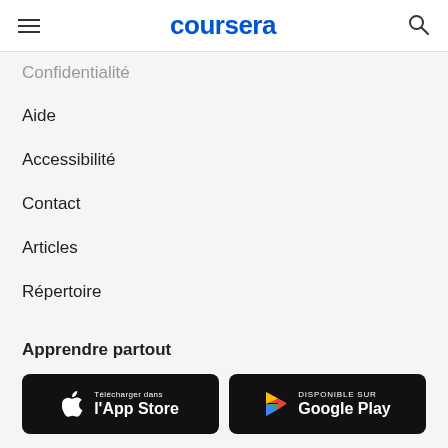coursera
Confidentialité
Aide
Accessibilité
Contact
Articles
Répertoire
Filiales
Déclaration sur l'esclavage moderne
Apprendre partout
[Figure (screenshot): App Store and Google Play download buttons]